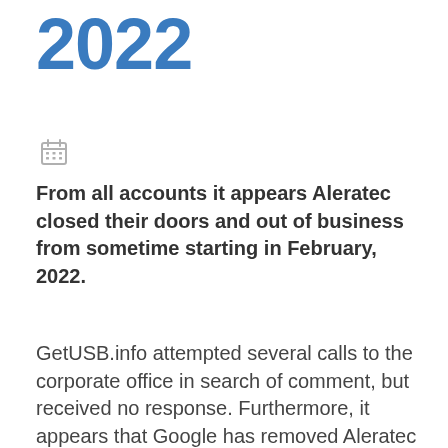2022
[Figure (illustration): Small calendar icon in light gray]
From all accounts it appears Aleratec closed their doors and out of business from sometime starting in February, 2022.
GetUSB.info attempted several calls to the corporate office in search of comment, but received no response. Furthermore, it appears that Google has removed Aleratec from their search results because their domain www.aleratec.com has been inactive for more than 30 days. We are posting